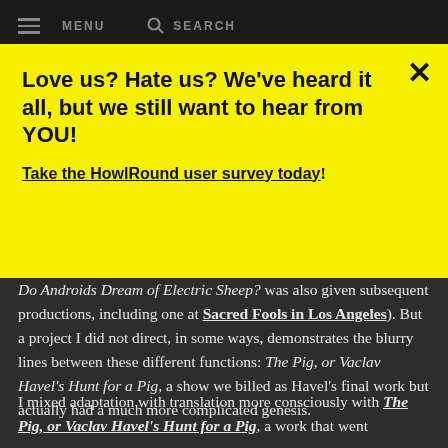MENU   SEARCH
Love us? Hate us? We've heard it all, but we still want to hear from YOU!
Take the HowlRound user survey today!
...Do Androids Dream of Electric Sheep? was also given subsequent productions, including one at Sacred Fools in Los Angeles). But a project I did not direct, in some ways, demonstrates the blurry lines between these different functions: The Pig, or Vaclav Havel's Hunt for a Pig, a show we billed as Havel's final work but actually had a much more complicated genesis.
I mixed adaptation with translation more consciously with The Pig, or Vaclav Havel's Hunt for a Pig, a work that went